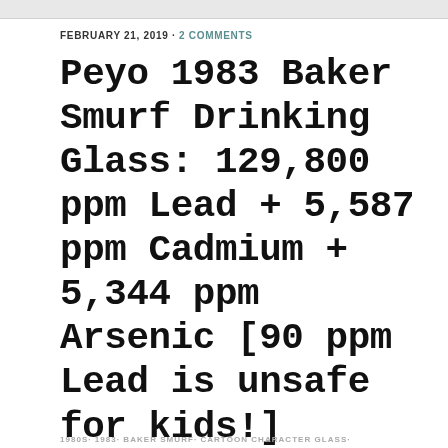FEBRUARY 21, 2019 · 2 COMMENTS
Peyo 1983 Baker Smurf Drinking Glass: 129,800 ppm Lead + 5,587 ppm Cadmium + 5,344 ppm Arsenic [90 ppm Lead is unsafe for kids!]
1980S· 1983· BAKER SMURF· CARTOON CHARACTER GLASS·